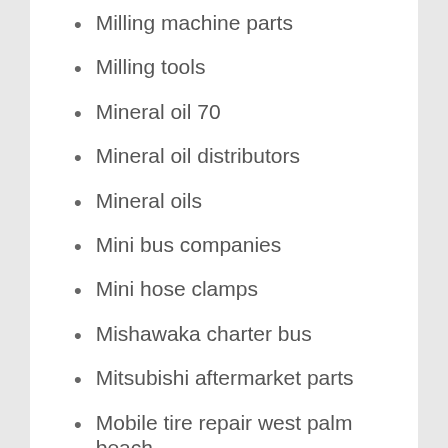Milling machine parts
Milling tools
Mineral oil 70
Mineral oil distributors
Mineral oils
Mini bus companies
Mini hose clamps
Mishawaka charter bus
Mitsubishi aftermarket parts
Mobile tire repair west palm beach
Molub alloy
Monthly parking